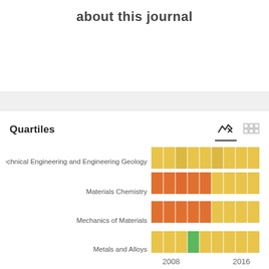about this journal
[Figure (infographic): Quartiles heatmap showing journal subject category rankings over time (2008-2016) for four categories: Geotechnical Engineering and Engineering Geology, Materials Chemistry, Mechanics of Materials, Metals and Alloys. Each row shows colored cells (orange/yellow/green) representing quartile rankings per year.]
2008   2016